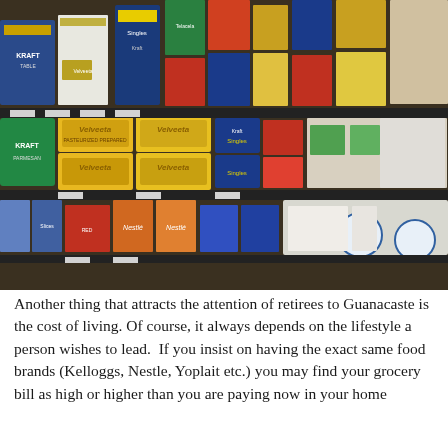[Figure (photo): A grocery store dairy aisle showing shelves stocked with cheese and dairy products including multiple boxes of Velveeta, Kraft Singles, Kraft cheese products, Nestle products, and various other packaged cheese and dairy items arranged on black shelving units.]
Another thing that attracts the attention of retirees to Guanacaste is the cost of living. Of course, it always depends on the lifestyle a person wishes to lead.  If you insist on having the exact same food brands (Kelloggs, Nestle, Yoplait etc.) you may find your grocery bill as high or higher than you are paying now in your home